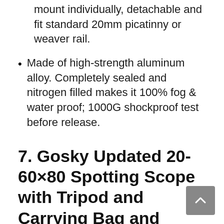Each scope part has universal 20mm mount individually, detachable and fit standard 20mm picatinny or weaver rail.
Made of high-strength aluminum alloy. Completely sealed and nitrogen filled makes it 100% fog & water proof; 1000G shockproof test before release.
7. Gosky Updated 20-60×80 Spotting Scope with Tripod and Carrying Bag and Smartphone Adapter – BAK4 Angled Telescope – Waterproof Scope for Target